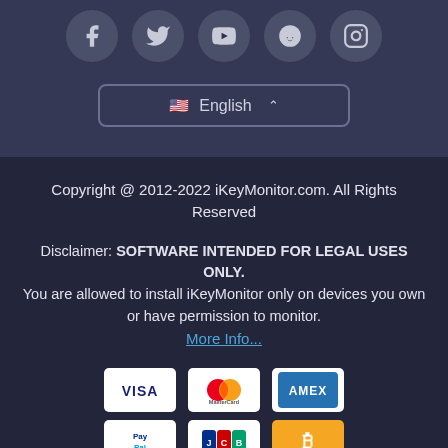[Figure (other): Social media icons row: Facebook, Twitter, YouTube, Reddit, Instagram — circular dark buttons with white icons]
[Figure (other): Language selector dropdown showing USA flag and 'English' with an up chevron, outlined box]
Copyright @ 2012-2022 iKeyMonitor.com. All Rights Reserved
Disclaimer: SOFTWARE INTENDED FOR LEGAL USES ONLY.
You are allowed to install iKeyMonitor only on devices you own or have permission to monitor.
More Info...
[Figure (other): Payment method icons: VISA, MasterCard, AMEX in row 1; PayPal, JCB, Bitcoin in row 2]